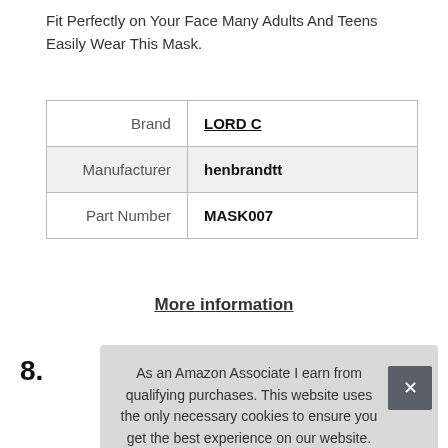Fit Perfectly on Your Face Many Adults And Teens Easily Wear This Mask.
| Brand | LORD C |
| Manufacturer | henbrandtt |
| Part Number | MASK007 |
More information
8.
As an Amazon Associate I earn from qualifying purchases. This website uses the only necessary cookies to ensure you get the best experience on our website. More information